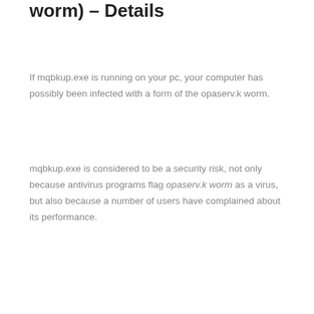worm) – Details
If mqbkup.exe is running on your pc, your computer has possibly been infected with a form of the opaserv.k worm.
mqbkup.exe is considered to be a security risk, not only because antivirus programs flag opaserv.k worm as a virus, but also because a number of users have complained about its performance.